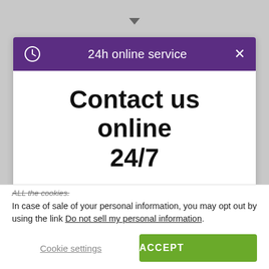[Figure (screenshot): Dropdown arrow indicator at top of page on grey background]
24h online service
Contact us online 24/7
START HERE
ALL the cookies.
In case of sale of your personal information, you may opt out by using the link Do not sell my personal information.
Cookie settings
ACCEPT